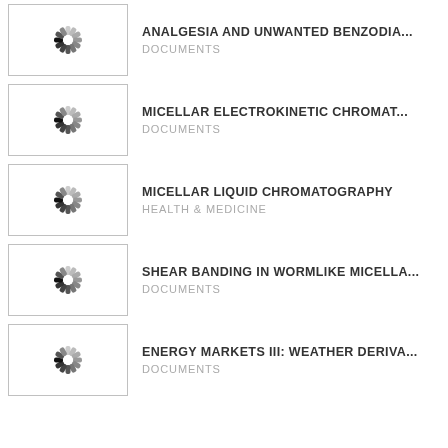ANALGESIA AND UNWANTED BENZODIA... | DOCUMENTS
MICELLAR ELECTROKINETIC CHROMAT... | DOCUMENTS
MICELLAR LIQUID CHROMATOGRAPHY | HEALTH & MEDICINE
SHEAR BANDING IN WORMLIKE MICELLA... | DOCUMENTS
ENERGY MARKETS III: WEATHER DERIVA... | DOCUMENTS